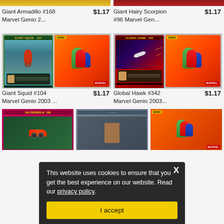[Figure (photo): Top partial row showing two Marvel Genio trading card products (Giant Armadillo #168 and Giant Hairy Scorpion #96), partially cropped at top]
Giant Armadillo #168 Marvel Genio 2...	$1.17
Giant Hairy Scorpion #96 Marvel Gen...	$1.17
[Figure (photo): Marvel Genio 2003 trading card listing for Giant Squid #104, showing card front with giant squid creature and Marvel heroes cover]
[Figure (photo): Marvel Genio 2003 trading card listing for Global Hawk #342, showing red card with aircraft and Marvel heroes cover]
Giant Squid #104 Marvel Genio 2003 ...	$1.17
Global Hawk #342 Marvel Genio 2003...	$1.17
This website uses cookies to ensure that you get the best experience on our website. Read our privacy policy.
I accept
[Figure (photo): Partial bottom row of Marvel Genio card products, partially obscured by cookie consent overlay]